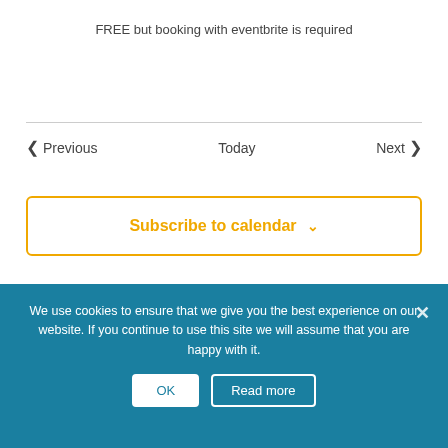FREE but booking with eventbrite is required
< Previous   Today   Next >
Subscribe to calendar ∨
We use cookies to ensure that we give you the best experience on our website. If you continue to use this site we will assume that you are happy with it.
OK   Read more